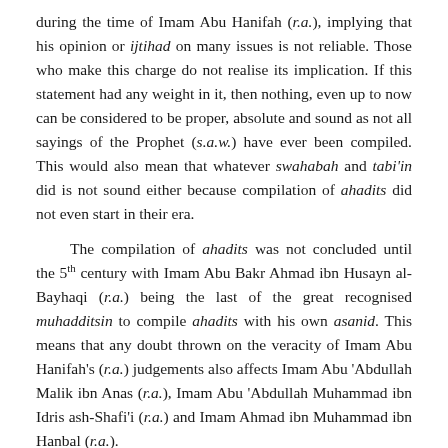during the time of Imam Abu Hanifah (r.a.), implying that his opinion or ijtihad on many issues is not reliable. Those who make this charge do not realise its implication. If this statement had any weight in it, then nothing, even up to now can be considered to be proper, absolute and sound as not all sayings of the Prophet (s.a.w.) have ever been compiled. This would also mean that whatever swahabah and tabi'in did is not sound either because compilation of ahadits did not even start in their era.
The compilation of ahadits was not concluded until the 5th century with Imam Abu Bakr Ahmad ibn Husayn al-Bayhaqi (r.a.) being the last of the great recognised muhadditsin to compile ahadits with his own asanid. This means that any doubt thrown on the veracity of Imam Abu Hanifah's (r.a.) judgements also affects Imam Abu 'Abdullah Malik ibn Anas (r.a.), Imam Abu 'Abdullah Muhammad ibn Idris ash-Shafi'i (r.a.) and Imam Ahmad ibn Muhammad ibn Hanbal (r.a.).
The primary argument against this, aside from the fact that